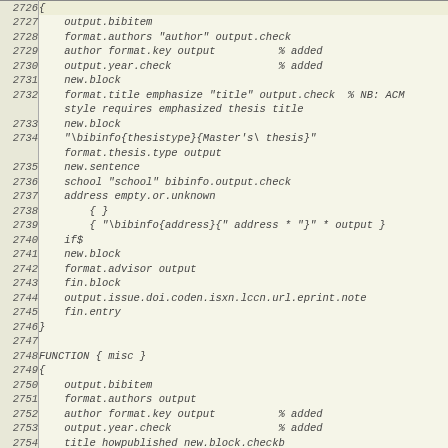| line | code |
| --- | --- |
| 2726 | { |
| 2727 |     output.bibitem |
| 2728 |     format.authors "author" output.check |
| 2729 |     author format.key output          % added |
| 2730 |     output.year.check                 % added |
| 2731 |     new.block |
| 2732 |     format.title emphasize "title" output.check  % NB: ACM style requires emphasized thesis title |
| 2733 |     new.block |
| 2734 |     "\bibinfo{thesistype}{Master's\ thesis}" format.thesis.type output |
| 2735 |     new.sentence |
| 2736 |     school "school" bibinfo.output.check |
| 2737 |     address empty.or.unknown |
| 2738 |         { } |
| 2739 |         { "\bibinfo{address}{" address * "}" * output } |
| 2740 |     if$ |
| 2741 |     new.block |
| 2742 |     format.advisor output |
| 2743 |     fin.block |
| 2744 |     output.issue.doi.coden.isxn.lccn.url.eprint.note |
| 2745 |     fin.entry |
| 2746 | } |
| 2747 |  |
| 2748 | FUNCTION { misc } |
| 2749 | { |
| 2750 |     output.bibitem |
| 2751 |     format.authors output |
| 2752 |     author format.key output          % added |
| 2753 |     output.year.check                 % added |
| 2754 |     title howpublished new.block.checkb |
| 2755 |     format.title output |